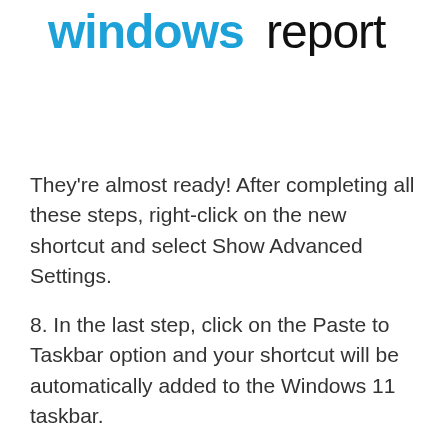[Figure (logo): Windows Report logo with 'windows' in blue and 'report' in black stylized text]
They're almost ready! After completing all these steps, right-click on the new shortcut and select Show Advanced Settings.
8. In the last step, click on the Paste to Taskbar option and your shortcut will be automatically added to the Windows 11 taskbar.